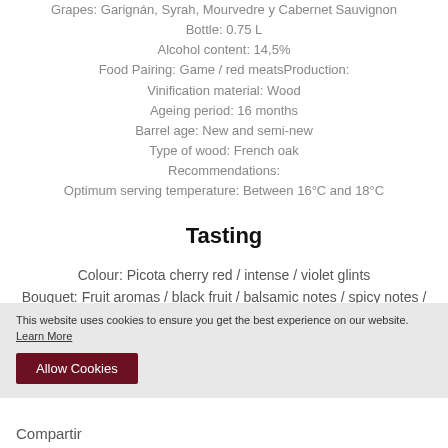Grapes: Garignán, Syrah, Mourvedre y Cabernet Sauvignon
Bottle: 0.75 L
Alcohol content: 14,5%
Food Pairing: Game / red meatsProduction:
Vinification material: Wood
Ageing period: 16 months
Barrel age: New and semi-new
Type of wood: French oak
Recommendations:
Optimum serving temperature: Between 16°C and 18°C
Tasting
Colour: Picota cherry red / intense / violet glints
Bouquet: Fruit aromas / black fruit / balsamic notes / spicy notes / undergrowth notes / liquorice
Palate: Good entry / full / fresh / profound / deep / complex / well-integrated wood / spicy notes / menthol notes / long
This website uses cookies to ensure you get the best experience on our website. Learn More
Allow Cookies
Compartir